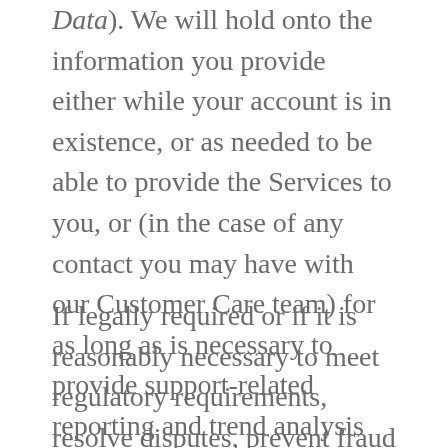Data). We will hold onto the information you provide either while your account is in existence, or as needed to be able to provide the Services to you, or (in the case of any contact you may have with our Customer Care team) for as long as is necessary to provide support-related reporting and trend analysis only.
If legally required or if it is reasonably necessary to meet regulatory requirements, resolve disputes, prevent fraud and abuse, or enforce our Terms and Conditions, we may also retain some of your information for a